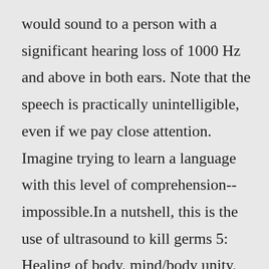would sound to a person with a significant hearing loss of 1000 Hz and above in both ears. Note that the speech is practically unintelligible, even if we pay close attention. Imagine trying to learn a language with this level of comprehension--impossible.In a nutshell, this is the use of ultrasound to kill germs 5: Healing of body, mind/body unity, firewalking potent stabilizer and stimulating for the immunity,